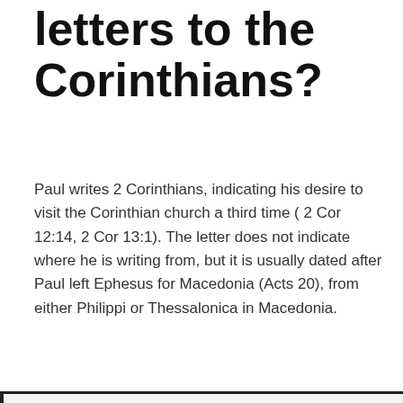letters to the Corinthians?
Paul writes 2 Corinthians, indicating his desire to visit the Corinthian church a third time ( 2 Cor 12:14, 2 Cor 13:1). The letter does not indicate where he is writing from, but it is usually dated after Paul left Ephesus for Macedonia (Acts 20), from either Philippi or Thessalonica in Macedonia.
You might be interested:  Who Baptized Paul The